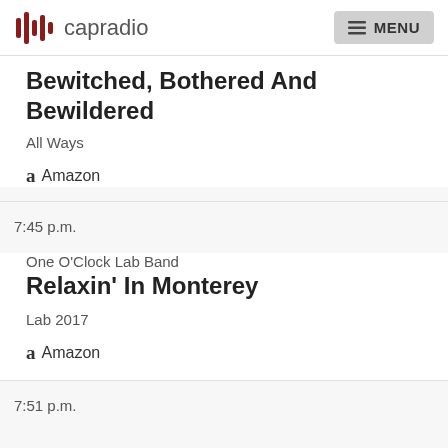capradio  MENU
Bewitched, Bothered And Bewildered
All Ways
Amazon
7:45 p.m.
One O'Clock Lab Band
Relaxin' In Monterey
Lab 2017
Amazon
7:51 p.m.